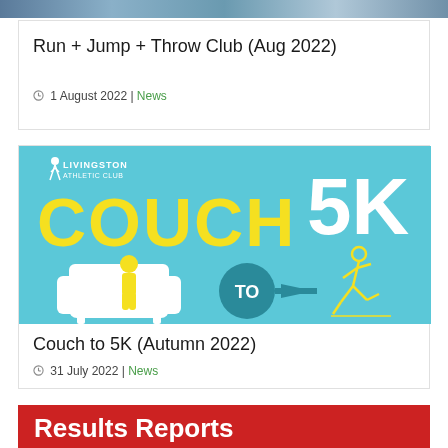[Figure (photo): Top banner photo strip showing athletic/sports imagery]
Run + Jump + Throw Club (Aug 2022)
1 August 2022 | News
[Figure (illustration): Livingston Athletic Club - Couch to 5K promotional graphic on light blue background with yellow text COUCH 5K and icons showing person on sofa transforming to running figure with TO arrow in teal circle]
Couch to 5K (Autumn 2022)
31 July 2022 | News
Results Reports